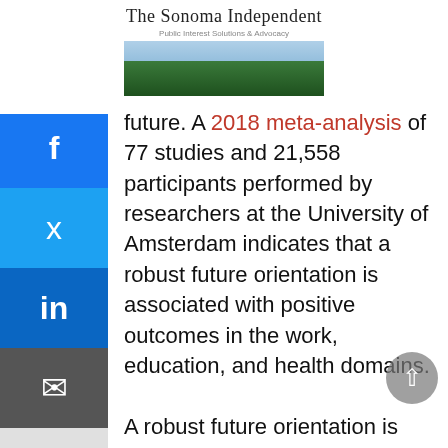The Sonoma Independent — Public Interest Solutions & Advocacy
future. A 2018 meta-analysis of 77 studies and 21,558 participants performed by researchers at the University of Amsterdam indicates that a robust future orientation is associated with positive outcomes in the work, education, and health domains. A robust future orientation is extensive (your imagined future horizon extends for years), adaptive (offers you hope and a sense of possibility) and habitual (it's part of the unconscious psychological processes that you draw upon each day). Not surprisingly, your future orientation is informed by your experiences. Your capacity to experience a robust future orientation goes down if you are poor, living in a violent area, if you are sick, have risky